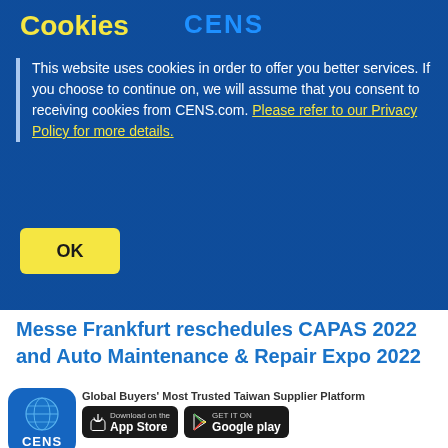CENS
Cookies
This website uses cookies in order to offer you better services. If you choose to continue on, we will assume that you consent to receiving cookies from CENS.com. Please refer to our Privacy Policy for more details.
OK
Messe Frankfurt reschedules CAPAS 2022 and Auto Maintenance & Repair Expo 2022
May 06, 20...
Global Buyers' Most Trusted Taiwan Supplier Platform
[Figure (screenshot): CENS app icon with globe graphic and CENS text in blue rounded square]
[Figure (screenshot): Download on the App Store button and Get it on Google Play button]
...olving pandemic situation in China...VID-19...os...ches...